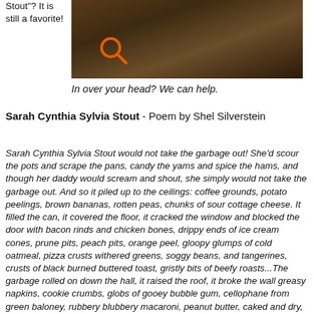Stout”? It is still a favorite!
[Figure (photo): Dark brown sculptural image with an orange search magnifying glass icon overlay]
In over your head? We can help.
Sarah Cynthia Sylvia Stout - Poem by Shel Silverstein
Sarah Cynthia Sylvia Stout would not take the garbage out! She’d scour the pots and scrape the pans, candy the yams and spice the hams, and though her daddy would scream and shout, she simply would not take the garbage out. And so it piled up to the ceilings: coffee grounds, potato peelings, brown bananas, rotten peas, chunks of sour cottage cheese. It filled the can, it covered the floor, it cracked the window and blocked the door with bacon rinds and chicken bones, drippy ends of ice cream cones, prune pits, peach pits, orange peel, gloopy glumps of cold oatmeal, pizza crusts withered greens, soggy beans, and tangerines, crusts of black burned buttered toast, gristly bits of beefy roasts...The garbage rolled on down the hall, it raised the roof, it broke the wall greasy napkins, cookie crumbs, globs of gooey bubble gum, cellophane from green baloney, rubbery blubbery macaroni, peanut butter, caked and dry, curdled milk and crusts of raisin bread and chips of chickens...